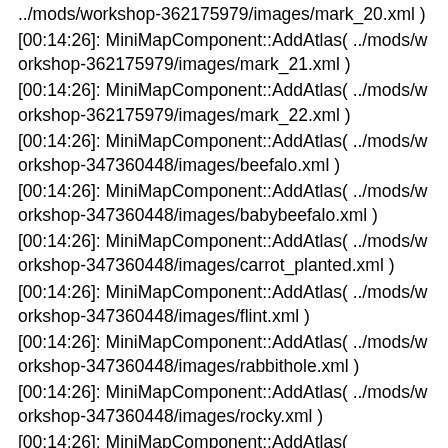../mods/workshop-362175979/images/mark_20.xml )
[00:14:26]: MiniMapComponent::AddAtlas( ../mods/workshop-362175979/images/mark_21.xml )
[00:14:26]: MiniMapComponent::AddAtlas( ../mods/workshop-362175979/images/mark_22.xml )
[00:14:26]: MiniMapComponent::AddAtlas( ../mods/workshop-347360448/images/beefalo.xml )
[00:14:26]: MiniMapComponent::AddAtlas( ../mods/workshop-347360448/images/babybeefalo.xml )
[00:14:26]: MiniMapComponent::AddAtlas( ../mods/workshop-347360448/images/carrot_planted.xml )
[00:14:26]: MiniMapComponent::AddAtlas( ../mods/workshop-347360448/images/flint.xml )
[00:14:26]: MiniMapComponent::AddAtlas( ../mods/workshop-347360448/images/rabbithole.xml )
[00:14:26]: MiniMapComponent::AddAtlas( ../mods/workshop-347360448/images/rocky.xml )
[00:14:26]: MiniMapComponent::AddAtlas(